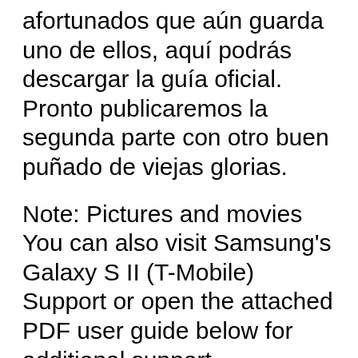afortunados que aún guarda uno de ellos, aquí podrás descargar la guía oficial. Pronto publicaremos la segunda parte con otro buen puñado de viejas glorias.
Note: Pictures and movies You can also visit Samsung's Galaxy S II (T-Mobile) Support or open the attached PDF user guide below for additional support. Attachments.
Samsung_Galaxy_S_II_User_Manual.pdf Preview; Message us on My T-Mobile NOTE When you sign in to a Google Account, Factory Reset Protection (FRP) is activated. FRP requires your Google Account information when resetting to factory settings. For more information